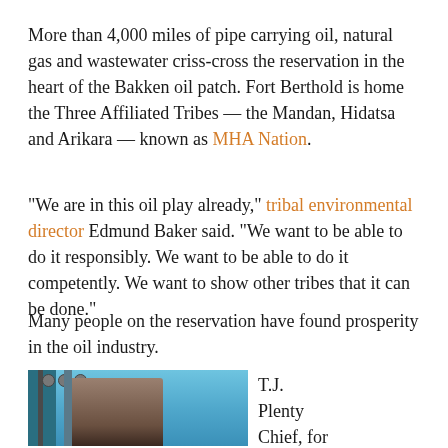More than 4,000 miles of pipe carrying oil, natural gas and wastewater criss-cross the reservation in the heart of the Bakken oil patch. Fort Berthold is home the Three Affiliated Tribes — the Mandan, Hidatsa and Arikara — known as MHA Nation.
“We are in this oil play already,” tribal environmental director Edmund Baker said. “We want to be able to do it responsibly. We want to be able to do it competently. We want to show other tribes that it can be done.”
Many people on the reservation have found prosperity in the oil industry.
[Figure (photo): Photo of a person (T.J. Plenty Chief) standing near machinery or equipment with a blue sky background]
T.J. Plenty Chief, for